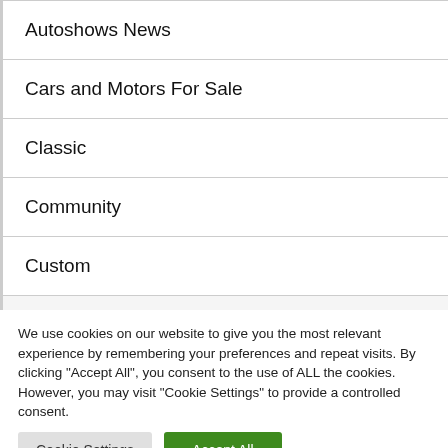Autoshows News
Cars and Motors For Sale
Classic
Community
Custom
We use cookies on our website to give you the most relevant experience by remembering your preferences and repeat visits. By clicking "Accept All", you consent to the use of ALL the cookies. However, you may visit "Cookie Settings" to provide a controlled consent.
Cookie Settings | Accept All